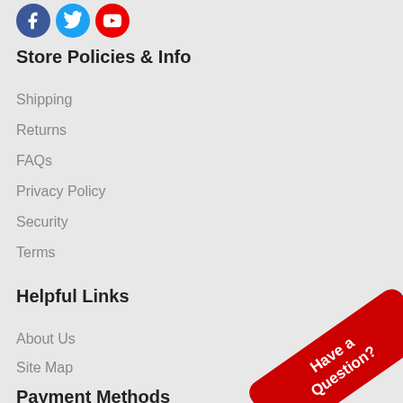[Figure (illustration): Three social media icon circles: Facebook (blue), Twitter (light blue), YouTube (red with 'info' text visible)]
Store Policies & Info
Shipping
Returns
FAQs
Privacy Policy
Security
Terms
Helpful Links
About Us
Site Map
[Figure (illustration): Red rotated banner button with white bold text reading 'Have a Question?']
Payment Methods